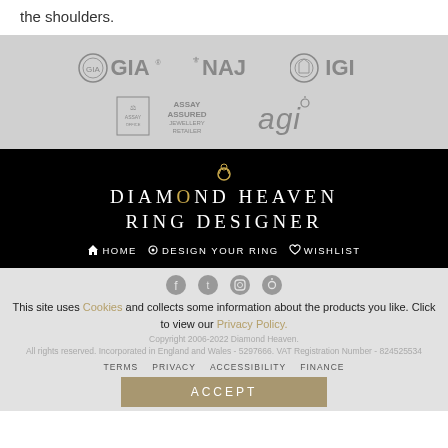the shoulders.
[Figure (logo): Certification logos: GIA, NAJ, IGI, Assay Assured Jewellery Retailer, AGI]
[Figure (logo): Diamond Heaven Ring Designer brand logo with navigation: HOME, DESIGN YOUR RING, WISHLIST]
This site uses Cookies and collects some information about the products you like. Click to view our Privacy Policy. | Copyright 2006-2022 Diamond Heaven. All rights reserved. Incorporated in England and Wales - 5297666. VAT Registration Number - 824525534 | TERMS  PRIVACY  ACCESSIBILITY  FINANCE | ACCEPT